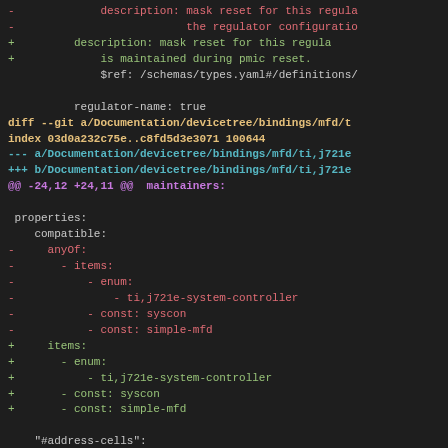diff --git code block showing changes to Documentation/devicetree/bindings/mfd/ files with removed and added lines
[Figure (screenshot): Code diff view showing YAML devicetree binding changes with removed lines (red) and added lines (green), diff headers in yellow/cyan]